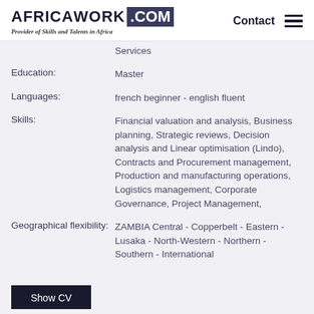AFRICAWORK .COM — Provider of Skills and Talents in Africa — Contact
Services
Education: Master
Languages: french beginner - english fluent
Skills: Financial valuation and analysis, Business planning, Strategic reviews, Decision analysis and Linear optimisation (Lindo), Contracts and Procurement management, Production and manufacturing operations, Logistics management, Corporate Governance, Project Management,
Geographical flexibility: ZAMBIA Central - Copperbelt - Eastern - Lusaka - North-Western - Northern - Southern - International
Show CV